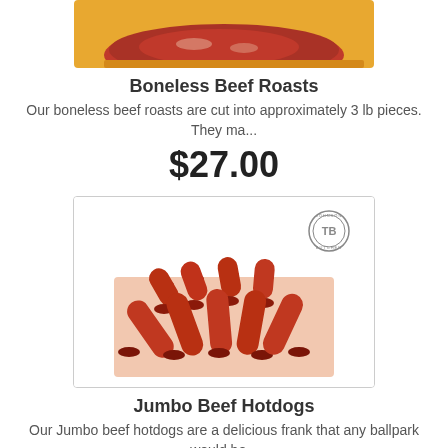[Figure (photo): Partial photo of boneless beef roast on a cutting board, cropped at top]
Boneless Beef Roasts
Our boneless beef roasts are cut into approximately 3 lb pieces. They ma...
$27.00
[Figure (photo): Photo of jumbo beef hotdogs piled on a light pink surface with a TB brand stamp in the upper right corner]
Jumbo Beef Hotdogs
Our Jumbo beef hotdogs are a delicious frank that any ballpark would be...